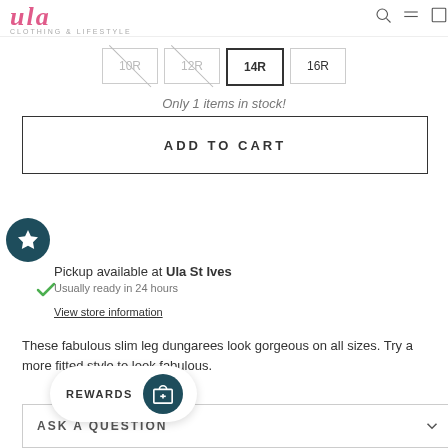Ula CLOTHING & LIFESTYLE
10R (crossed out)
12R (crossed out)
14R (selected)
16R
Only 1 items in stock!
ADD TO CART
Pickup available at Ula St Ives
Usually ready in 24 hours
View store information
These fabulous slim leg dungarees look gorgeous on all sizes. Try a more fitted style to look fabulous.
REWARDS
ASK A QUESTION